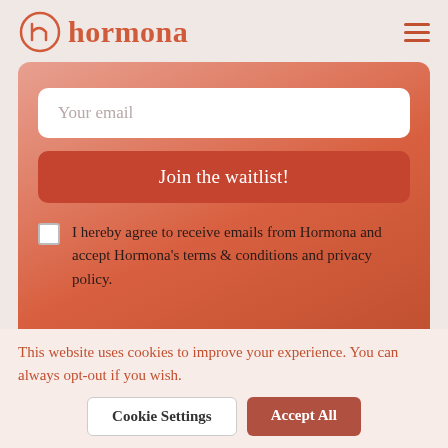hormona
[Figure (screenshot): Email signup form with gradient orange-red background, white email input field with placeholder 'Your email', a red 'Join the waitlist!' button, and a checkbox with text 'I hereby agree to receive emails from Hormona and accept Hormona's terms & conditions and privacy policy.']
Your email
Join the waitlist!
I hereby agree to receive emails from Hormona and accept Hormona's terms & conditions and privacy policy.
This website uses cookies to improve your experience. You can always opt-out if you wish.
Cookie Settings
Accept All